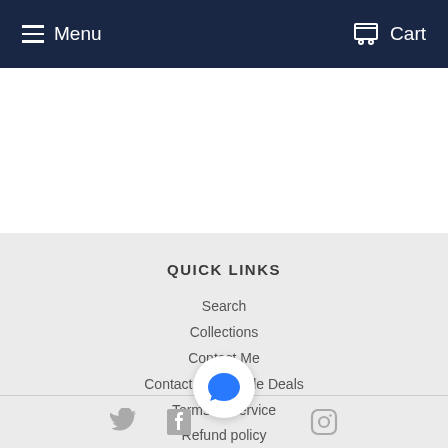Menu   Cart
QUICK LINKS
Search
Collections
Contact Me
Contact Me - Trade Deals
Terms of Service
Refund policy
[Figure (infographic): Chat bubble icon button (blue speech bubble on white circle) and three social media icons: Twitter bird, Facebook F, and Instagram camera outline, in gray]